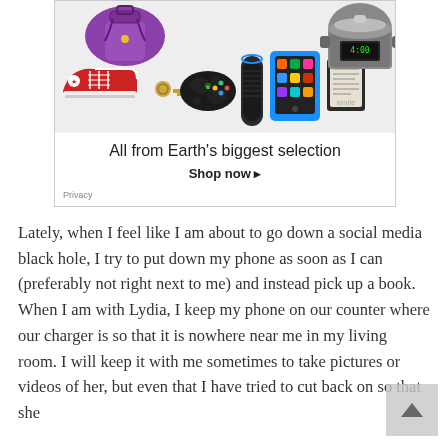[Figure (advertisement): Amazon advertisement showing products (sneakers, handbag, Xbox controller, Echo speaker, Fire tablet, Kindle, slow cooker) with text 'All from Earth's biggest selection' and 'Shop now ▸']
Lately, when I feel like I am about to go down a social media black hole, I try to put down my phone as soon as I can (preferably not right next to me) and instead pick up a book. When I am with Lydia, I keep my phone on our counter where our charger is so that it is nowhere near me in my living room. I will keep it with me sometimes to take pictures or videos of her, but even that I have tried to cut back on so that she